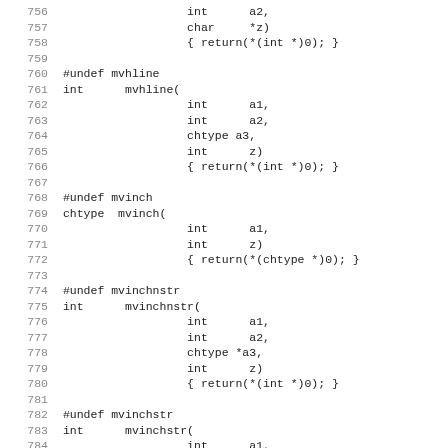Code listing lines 756-787 showing C function stubs for mvhline, mvinch, mvinchnstr, mvinchstr
756   int      a2,
757   char     *z)
758            { return(*(int *)0); }
759
760 #undef mvhline
761 int      mvhline(
762            int      a1,
763            int      a2,
764            chtype a3,
765            int      z)
766            { return(*(int *)0); }
767
768 #undef mvinch
769 chtype  mvinch(
770            int      a1,
771            int      z)
772            { return(*(chtype *)0); }
773
774 #undef mvinchnstr
775 int      mvinchnstr(
776            int      a1,
777            int      a2,
778            chtype *a3,
779            int      z)
780            { return(*(int *)0); }
781
782 #undef mvinchstr
783 int      mvinchstr(
784            int      a1,
785            int      a2,
786            chtype *z)
787            { return(*(int *)0); }